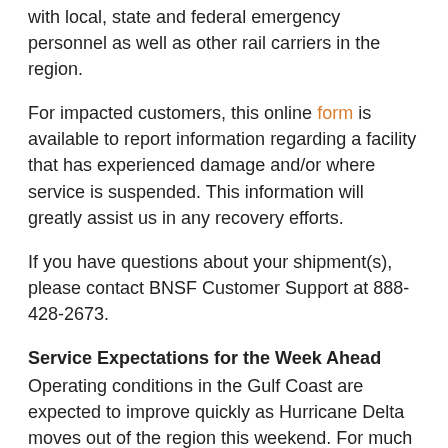with local, state and federal emergency personnel as well as other rail carriers in the region.
For impacted customers, this online form is available to report information regarding a facility that has experienced damage and/or where service is suspended. This information will greatly assist us in any recovery efforts.
If you have questions about your shipment(s), please contact BNSF Customer Support at 888-428-2673.
Service Expectations for the Week Ahead
Operating conditions in the Gulf Coast are expected to improve quickly as Hurricane Delta moves out of the region this weekend. For much of the BNSF network, favorable weather for early October is anticipated with no major storm systems in the forecast during the next several days.